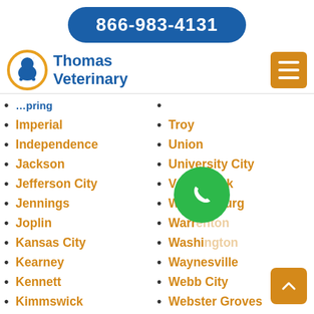866-983-4131
[Figure (logo): Thomas Veterinary logo with dog/cat silhouette in orange circle and blue text]
Imperial
Independence
Jackson
Jefferson City
Jennings
Joplin
Kansas City
Kearney
Kennett
Kimmswick
Kirksville
Kirkwood
Troy
Union
University City
Valley Park
Warrensburg
Warren
Washington
Waynesville
Webb City
Webster Groves
Weldon Spring
Wentworth